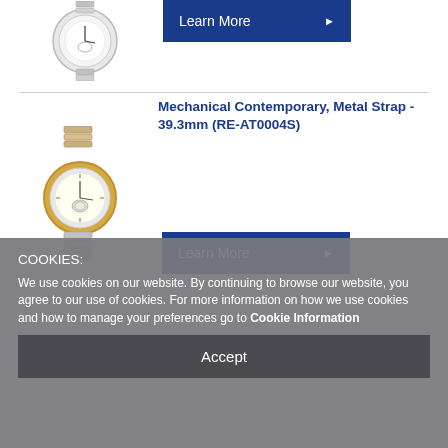[Figure (photo): Silver mechanical watch with metal strap shown partially at top of page]
[Figure (other): Dark blue 'Learn More' button with right-pointing arrow triangle]
[Figure (photo): Gold and silver mechanical contemporary watch with open heart complication and metal strap - 39.3mm (RE-AT0004S)]
Mechanical Contemporary, Metal Strap - 39.3mm (RE-AT0004S)
[Figure (other): Dark blue 'Learn More' button with right-pointing arrow triangle]
COOKIES:
We use cookies on our website. By continuing to browse our website, you agree to our use of cookies. For more information on how we use cookies and how to manage your preferences go to Cookie Information
Accept